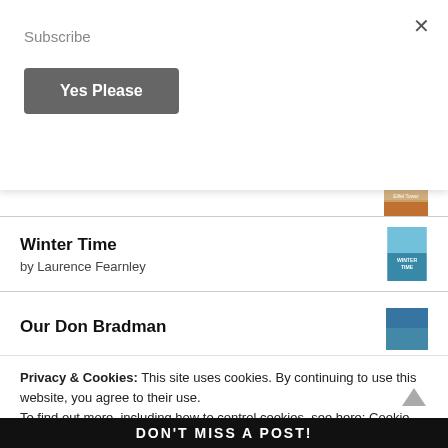Subscribe
Yes Please
Winter Time
by Laurence Fearnley
Our Don Bradman
Privacy & Cookies: This site uses cookies. By continuing to use this website, you agree to their use.
To find out more, including how to control cookies, see here: Cookie Policy
CLOSE AND ACCEPT
DON'T MISS A POST!